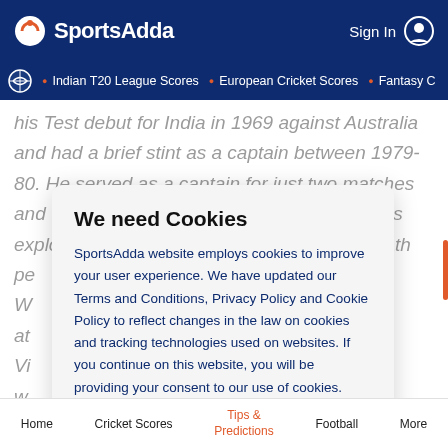SportsAdda | Sign In
• Indian T20 League Scores • European Cricket Scores • Fantasy C
his Test debut for India in 1969 against Australia and had a brief stint as a captain between 1979-80. He served as a captain for just two matches and while India failed to win either of them, his exploits earned him plenty of praise. Viswanath pe W at Vi w In W
We need Cookies
SportsAdda website employs cookies to improve your user experience. We have updated our Terms and Conditions, Privacy Policy and Cookie Policy to reflect changes in the law on cookies and tracking technologies used on websites. If you continue on this website, you will be providing your consent to our use of cookies.
Agree
Home   Cricket Scores   Tips & Predictions   Football   More